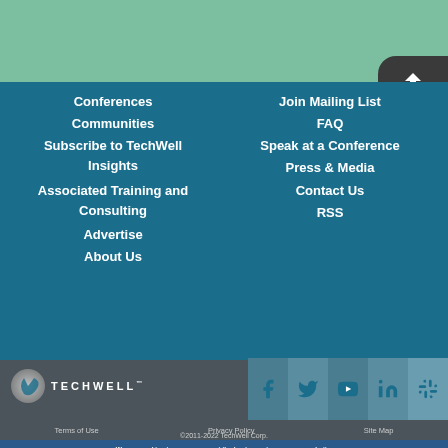[Figure (other): Green header band at top of page]
[Figure (other): Back to top arrow button in dark rounded rectangle]
Conferences
Communities
Subscribe to TechWell Insights
Associated Training and Consulting
Advertise
About Us
Join Mailing List
FAQ
Speak at a Conference
Press & Media
Contact Us
RSS
[Figure (logo): TechWell logo with circular icon and TECHWELL text]
[Figure (other): Social media icons: Facebook, Twitter, YouTube, LinkedIn, Slack]
Terms of Use   Privacy Policy   Site Map
©2011-2022 TechWell Corp.
We use cookies to ensure you get the best experience on our website.